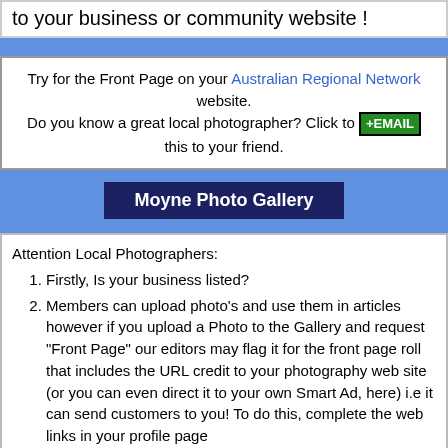to your business or community website !
Try for the Front Page on your Australian Regional Network website. Do you know a great local photographer? Click to +EMAIL this to your friend.
Moyne Photo Gallery
Attention Local Photographers:
Firstly, Is your business listed?
Members can upload photo's and use them in articles however if you upload a Photo to the Gallery and request "Front Page" our editors may flag it for the front page roll that includes the URL credit to your photography web site (or you can even direct it to your own Smart Ad, here) i.e it can send customers to you! To do this, complete the web links in your profile page
We are looking for great photos for the background image of this Site. With light colors or sky at the top and is locally iconic. You could watermark with your business logo for your brand recognition. Contact us if you have something in mind we may